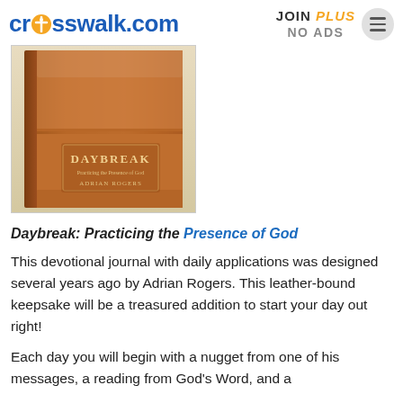crosswalk.com  JOIN PLUS NO ADS
[Figure (photo): Photo of a leather-bound brown book titled 'DAYBREAK: Practicing the Presence of God' by Adrian Rogers]
Daybreak: Practicing the Presence of God
This devotional journal with daily applications was designed several years ago by Adrian Rogers. This leather-bound keepsake will be a treasured addition to start your day out right!
Each day you will begin with a nugget from one of his messages, a reading from God's Word, and a